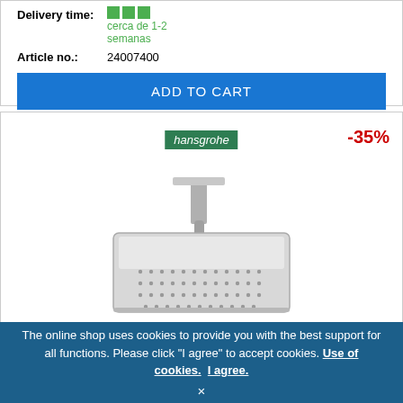Delivery time: ■■■ cerca de 1-2 semanas
Article no.: 24007400
ADD TO CART
[Figure (photo): Hansgrohe ceiling-mounted rain shower head, square, chrome finish with ceiling arm, product photo on white background. Hansgrohe logo badge shown. -35% discount badge shown.]
The online shop uses cookies to provide you with the best support for all functions. Please click "I agree" to accept cookies. Use of cookies. I agree. ×